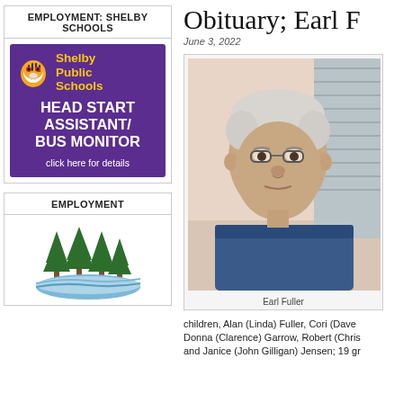EMPLOYMENT: SHELBY SCHOOLS
[Figure (illustration): Shelby Public Schools purple advertisement banner with tiger mascot logo and text: HEAD START ASSISTANT/ BUS MONITOR, click here for details]
EMPLOYMENT
[Figure (logo): Green trees with water/lake landscape logo, partial view]
Obituary; Earl F
June 3, 2022
[Figure (photo): Photo of Earl Fuller, an elderly man with white hair and glasses, wearing a blue shirt, standing outdoors]
Earl Fuller
children, Alan (Linda) Fuller, Cori (Dave Donna (Clarence) Garrow, Robert (Chris and Janice (John Gilligan) Jensen; 19 gr